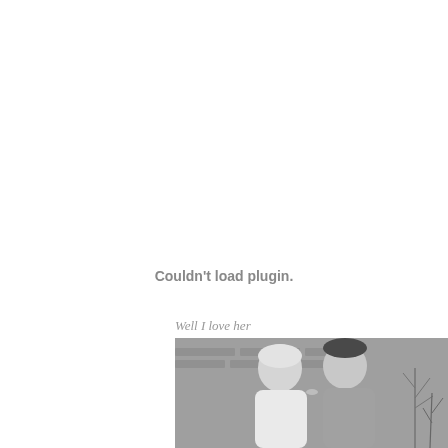Couldn't load plugin.
Well I love her
[Figure (photo): Black and white photo of a couple kissing, woman with blonde hair and a man with dark short hair, brick wall background with plants on the right side]